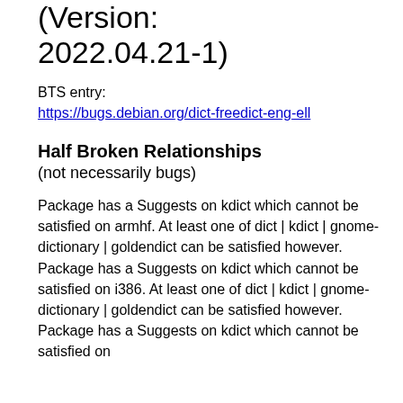(Version: 2022.04.21-1)
BTS entry: https://bugs.debian.org/dict-freedict-eng-ell
Half Broken Relationships
(not necessarily bugs)
Package has a Suggests on kdict which cannot be satisfied on armhf. At least one of dict | kdict | gnome-dictionary | goldendict can be satisfied however.
Package has a Suggests on kdict which cannot be satisfied on i386. At least one of dict | kdict | gnome-dictionary | goldendict can be satisfied however.
Package has a Suggests on kdict which cannot be satisfied on